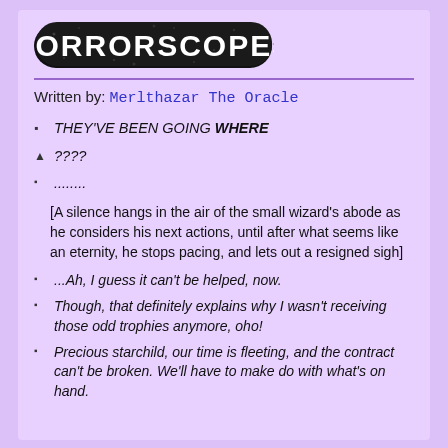[Figure (logo): HORRORSCOPES stylized logo with spooky text on dark background]
Written by: Merlthazar The Oracle
THEY'VE BEEN GOING WHERE
????
........
[A silence hangs in the air of the small wizard's abode as he considers his next actions, until after what seems like an eternity, he stops pacing, and lets out a resigned sigh]
...Ah, I guess it can't be helped, now.
Though, that definitely explains why I wasn't receiving those odd trophies anymore, oho!
Precious starchild, our time is fleeting, and the contract can't be broken. We'll have to make do with what's on hand.